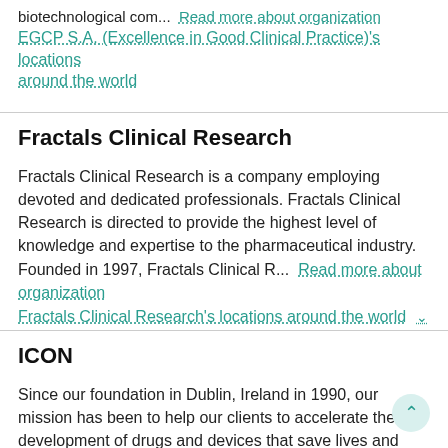biotechnological com...  Read more about organization
EGCP S.A. (Excellence in Good Clinical Practice)'s locations around the world
Fractals Clinical Research
Fractals Clinical Research is a company employing devoted and dedicated professionals. Fractals Clinical Research is directed to provide the highest level of knowledge and expertise to the pharmaceutical industry. Founded in 1997, Fractals Clinical R...  Read more about organization
Fractals Clinical Research's locations around the world
ICON
Since our foundation in Dublin, Ireland in 1990, our mission has been to help our clients to accelerate the development of drugs and devices that save lives and improve quality of life. We are a global provider of consulting, and outsourced